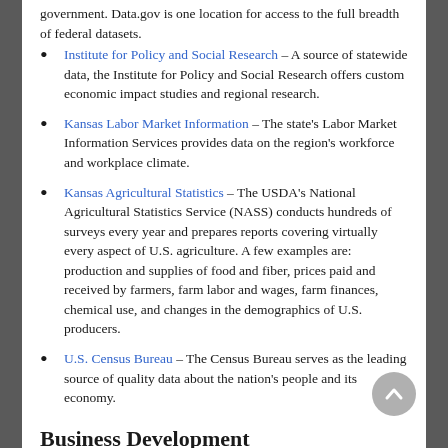government. Data.gov is one location for access to the full breadth of federal datasets.
Institute for Policy and Social Research – A source of statewide data, the Institute for Policy and Social Research offers custom economic impact studies and regional research.
Kansas Labor Market Information – The state's Labor Market Information Services provides data on the region's workforce and workplace climate.
Kansas Agricultural Statistics – The USDA's National Agricultural Statistics Service (NASS) conducts hundreds of surveys every year and prepares reports covering virtually every aspect of U.S. agriculture. A few examples are: production and supplies of food and fiber, prices paid and received by farmers, farm labor and wages, farm finances, chemical use, and changes in the demographics of U.S. producers.
U.S. Census Bureau – The Census Bureau serves as the leading source of quality data about the nation's people and its economy.
Business Development